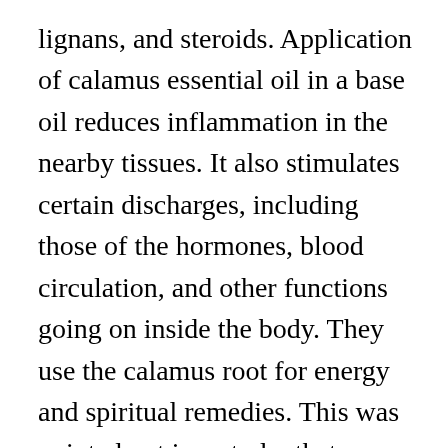lignans, and steroids. Application of calamus essential oil in a base oil reduces inflammation in the nearby tissues. It also stimulates certain discharges, including those of the hormones, blood circulation, and other functions going on inside the body. They use the calamus root for energy and spiritual remedies. This was pointed out in a study  that a nutrient from calamus, called β – asarone may have carcinogenic effects, although quite weak. EFFECTS OF ASARONE AND β-ASARONE ON CONDITIONED RESPONSES, FIGHTING BEHAVIOUR AND CONVULSIONS. Calamus oil is quite helpful in all kinds of neuralgia, like trigeminal neuralgia. 5. Calamus is a perennial,